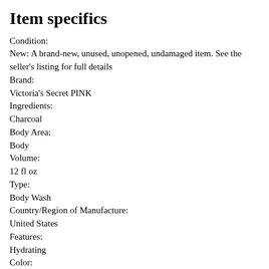Item specifics
Condition:
New: A brand-new, unused, unopened, undamaged item. See the seller's listing for full details
Brand:
Victoria's Secret PINK
Ingredients:
Charcoal
Body Area:
Body
Volume:
12 fl oz
Type:
Body Wash
Country/Region of Manufacture:
United States
Features:
Hydrating
Color:
Black
Product Line:
Victoria's Secret Pink